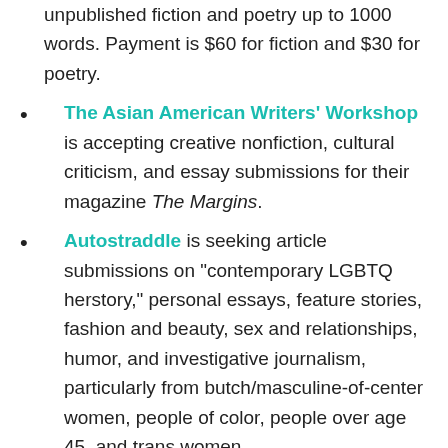unpublished fiction and poetry up to 1000 words. Payment is $60 for fiction and $30 for poetry.
The Asian American Writers' Workshop is accepting creative nonfiction, cultural criticism, and essay submissions for their magazine The Margins.
Autostraddle is seeking article submissions on "contemporary LGBTQ herstory," personal essays, feature stories, fashion and beauty, sex and relationships, humor, and investigative journalism, particularly from butch/masculine-of-center women, people of color, people over age 45, and trans women.